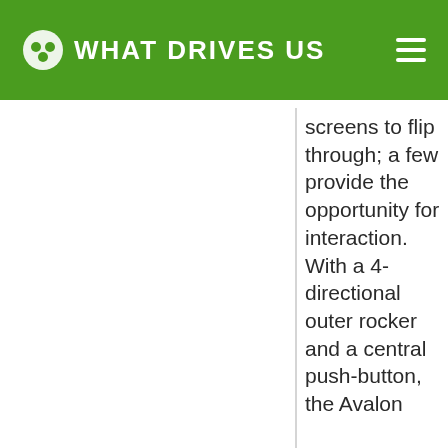WHAT DRIVES US
screens to flip through; a few provide the opportunity for interaction. With a 4-directional outer rocker and a central push-button, the Avalon